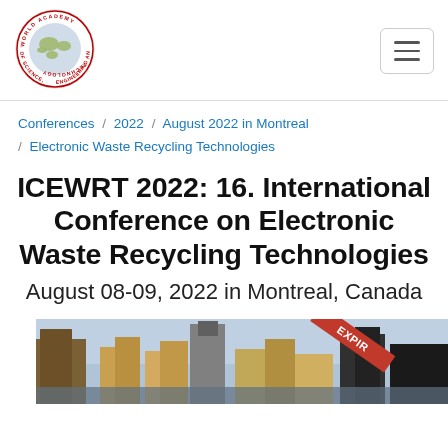[Figure (logo): World Academy of Science, Engineering and Technology circular logo with globe]
Conferences / 2022 / August 2022 in Montreal / Electronic Waste Recycling Technologies
ICEWRT 2022: 16. International Conference on Electronic Waste Recycling Technologies
August 08-09, 2022 in Montreal, Canada
[Figure (photo): Cityscape photo of Montreal with EXPIRED ribbon banner overlay]